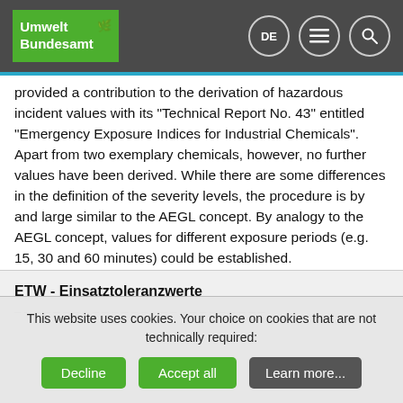Umwelt Bundesamt | DE | Menu | Search
provided a contribution to the derivation of hazardous incident values with its "Technical Report No. 43" entitled "Emergency Exposure Indices for Industrial Chemicals". Apart from two exemplary chemicals, however, no further values have been derived. While there are some differences in the definition of the severity levels, the procedure is by and large similar to the AEGL concept. By analogy to the AEGL concept, values for different exposure periods (e.g. 15, 30 and 60 minutes) could be established.
ETW - Einsatztoleranzwerte
This website uses cookies. Your choice on cookies that are not technically required:
Decline
Accept all
Learn more...